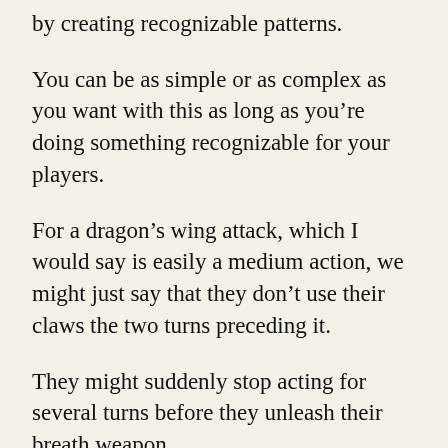by creating recognizable patterns.
You can be as simple or as complex as you want with this as long as you’re doing something recognizable for your players.
For a dragon’s wing attack, which I would say is easily a medium action, we might just say that they don’t use their claws the two turns preceding it.
They might suddenly stop acting for several turns before they unleash their breath weapon.